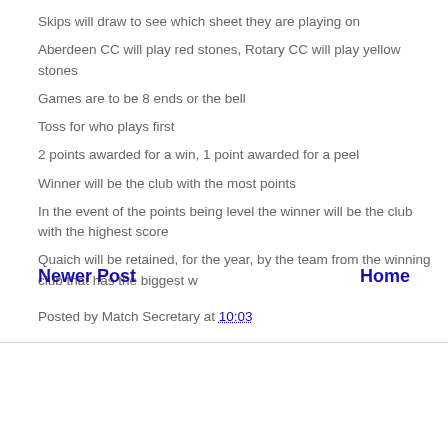Skips will draw to see which sheet they are playing on
Aberdeen CC will play red stones, Rotary CC will play yellow stones
Games are to be 8 ends or the bell
Toss for who plays first
2 points awarded for a win, 1 point awarded for a peel
Winner will be the club with the most points
In the event of the points being level the winner will be the club with the highest score
Quaich will be retained, for the year, by the team from the winning club that has the biggest w
Posted by Match Secretary at 10:03
Newer Post
Home